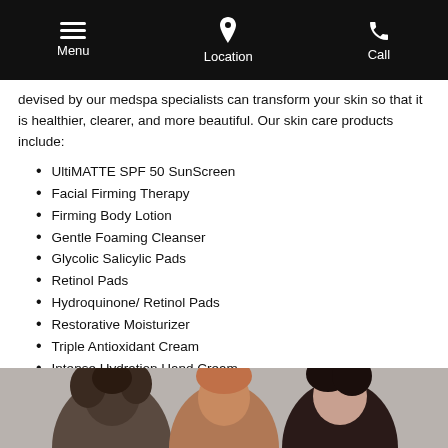Menu  Location  Call
devised by our medspa specialists can transform your skin so that it is healthier, clearer, and more beautiful. Our skin care products include:
UltiMATTE SPF 50 SunScreen
Facial Firming Therapy
Firming Body Lotion
Gentle Foaming Cleanser
Glycolic Salicylic Pads
Retinol Pads
Hydroquinone/ Retinol Pads
Restorative Moisturizer
Triple Antioxidant Cream
Intense Hydration Hand Cream
LATISSE®
[Figure (photo): Photo of three women smiling, shown from shoulders up against a light background]